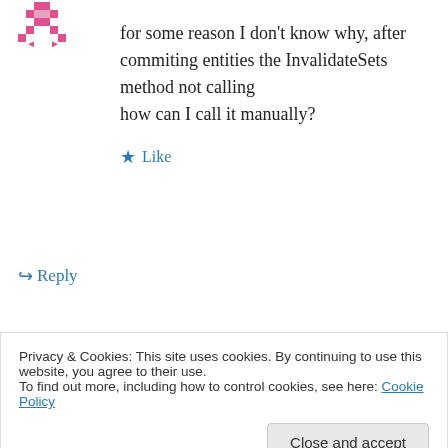[Figure (illustration): Pink/red pixelated avatar icon in top left]
for some reason I don't know why, after commiting entities the InvalidateSets method not calling
how can I call it manually?
★ Like
↪ Reply
[Figure (illustration): Black and white camera/screen avatar icon]
moozzyk on June 3, 2015 at 10:21 pm
Privacy & Cookies: This site uses cookies. By continuing to use this website, you agree to their use.
To find out more, including how to control cookies, see here: Cookie Policy
Close and accept
Hope this helps